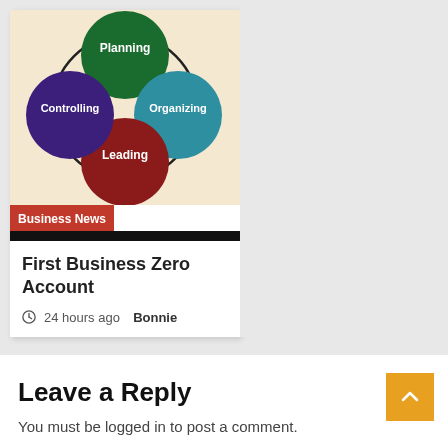[Figure (infographic): Four overlapping circles diagram showing management functions: Planning (dark green, top center), Organizing (teal/blue, right), Leading (dark red/maroon, bottom center), Controlling (dark purple, left), all overlapping in center on a cream/tan background.]
Business News
First Business Zero Account
24 hours ago  Bonnie
Leave a Reply
You must be logged in to post a comment.